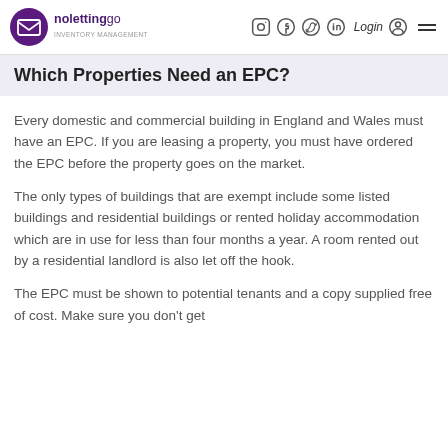nolettinggo — logo with social icons, Login, and menu
Which Properties Need an EPC?
Every domestic and commercial building in England and Wales must have an EPC. If you are leasing a property, you must have ordered the EPC before the property goes on the market.
The only types of buildings that are exempt include some listed buildings and residential buildings or rented holiday accommodation which are in use for less than four months a year. A room rented out by a residential landlord is also let off the hook.
The EPC must be shown to potential tenants and a copy supplied free of cost. Make sure you don't get